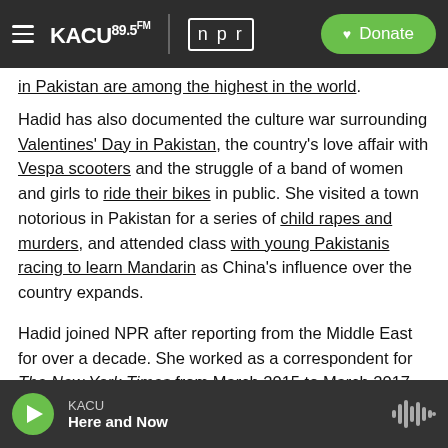KACU 89.5 FM | npr | Donate
in Pakistan are among the highest in the world.
Hadid has also documented the culture war surrounding Valentines' Day in Pakistan, the country's love affair with Vespa scooters and the struggle of a band of women and girls to ride their bikes in public. She visited a town notorious in Pakistan for a series of child rapes and murders, and attended class with young Pakistanis racing to learn Mandarin as China's influence over the country expands.
Hadid joined NPR after reporting from the Middle East for over a decade. She worked as a correspondent for The New York Times from March 2015 to March 2017, and she was a correspondent for The Associated Press from
KACU | Here and Now